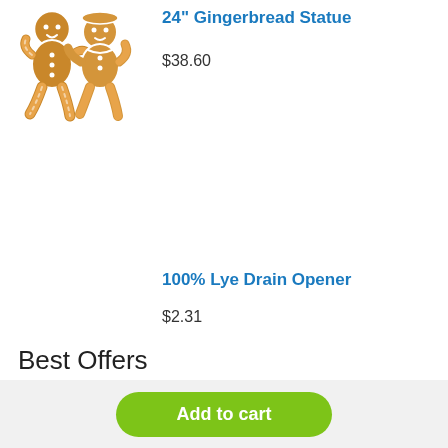[Figure (illustration): Two gingerbread man figures standing side by side, brown cookie bodies with white icing decorations and smiling faces]
24" Gingerbread Statue
$38.60
100% Lye Drain Opener
$2.31
Best Offers
Hydro Mouss Bermuda Kit
Add to cart